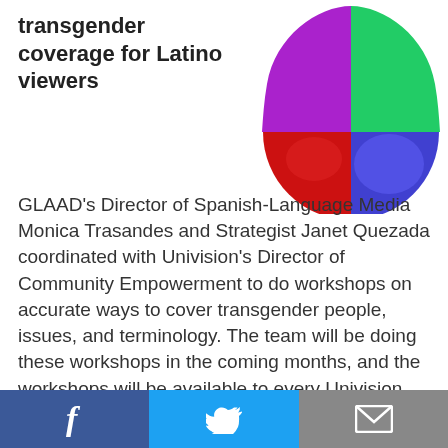transgender coverage for Latino viewers
[Figure (logo): Univision network logo — colorful teardrop/circle divided into quadrants of green, purple, red, and blue]
GLAAD's Director of Spanish-Language Media Monica Trasandes and Strategist Janet Quezada coordinated with Univision's Director of Community Empowerment to do workshops on accurate ways to cover transgender people, issues, and terminology. The team will be doing these workshops in the coming months, and the workshops will be available to every Univision affiliate.
Facebook | Twitter | Email